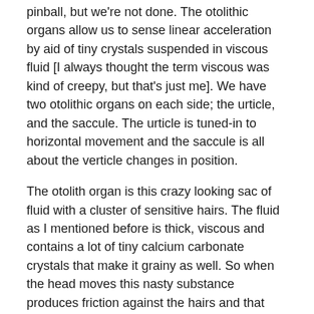pinball, but we're not done. The otolithic organs allow us to sense linear acceleration by aid of tiny crystals suspended in viscous fluid [I always thought the term viscous was kind of creepy, but that's just me]. We have two otolithic organs on each side; the urticle, and the saccule. The urticle is tuned-in to horizontal movement and the saccule is all about the verticle changes in position.
The otolith organ is this crazy looking sac of fluid with a cluster of sensitive hairs. The fluid as I mentioned before is thick, viscous and contains a lot of tiny calcium carbonate crystals that make it grainy as well. So when the head moves this nasty substance produces friction against the hairs and that inertia is translated into vertical and horizontal linear movement by the brain.
Back to Vertigo